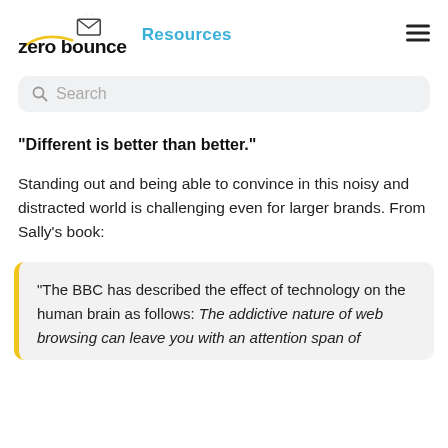zero bounce  Resources
Search
“Different is better than better.”
Standing out and being able to convince in this noisy and distracted world is challenging even for larger brands. From Sally’s book:
“The BBC has described the effect of technology on the human brain as follows: The addictive nature of web browsing can leave you with an attention span of